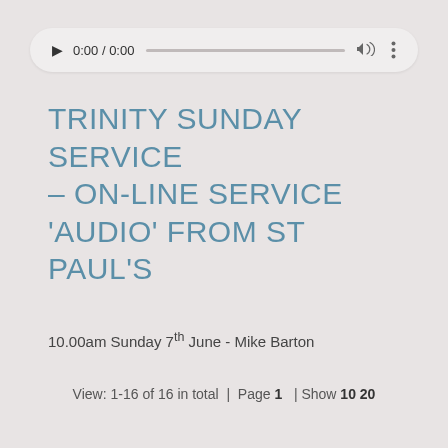[Figure (screenshot): Audio player widget with play button, time display 0:00 / 0:00, progress bar, volume icon, and menu icon, displayed on a rounded pill-shaped card]
TRINITY SUNDAY SERVICE – ON-LINE SERVICE 'AUDIO' FROM ST PAUL'S
10.00am Sunday 7th June - Mike Barton
View: 1-16 of 16 in total  |  Page 1  | Show 10 20